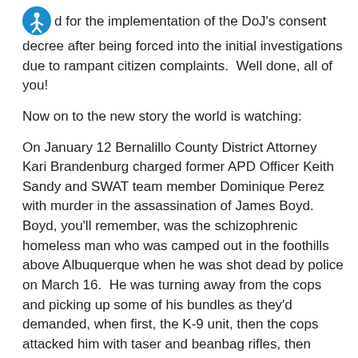d for the implementation of the DoJ's consent decree after being forced into the initial investigations due to rampant citizen complaints.  Well done, all of you!
Now on to the new story the world is watching:
On January 12 Bernalillo County District Attorney Kari Brandenburg charged former APD Officer Keith Sandy and SWAT team member Dominique Perez with murder in the assassination of James Boyd.  Boyd, you'll remember, was the schizophrenic homeless man who was camped out in the foothills above Albuquerque when he was shot dead by police on March 16.  He was turning away from the cops and picking up some of his bundles as they'd demanded, when first, the K-9 unit, then the cops attacked him with taser and beanbag rifles, then loaded bullets into him. As far as I can tell from the video, he'd first pulled two small knives out of his pockets in fear of the crazed dog's aggression.  You can watch it here; I won't embed it again. Note that after they hit him with a few